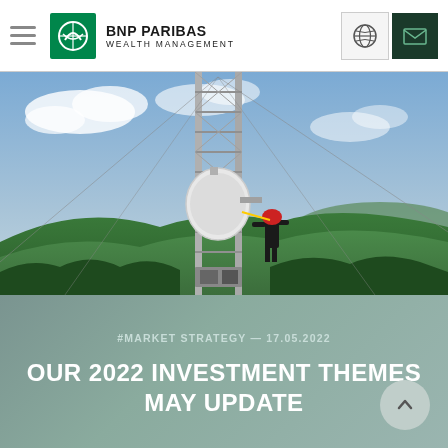BNP PARIBAS WEALTH MANAGEMENT
[Figure (photo): A telecom technician wearing a red hard hat climbs a tall steel telecommunications tower with microwave dish antenna. Dense green forest and a lake visible in the background under a partly cloudy sky.]
#MARKET STRATEGY — 17.05.2022
OUR 2022 INVESTMENT THEMES MAY UPDATE